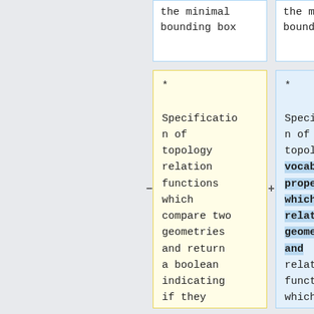the minimal
bounding box
the minimal
bounding box
* Specification of topology relation functions which compare two geometries and return a boolean indicating if they meet the criteria of the function:
* Specification of topology vocabulary properties which relate 2 geometries and relation functions which compare two geometries and return a boolean indicating if they